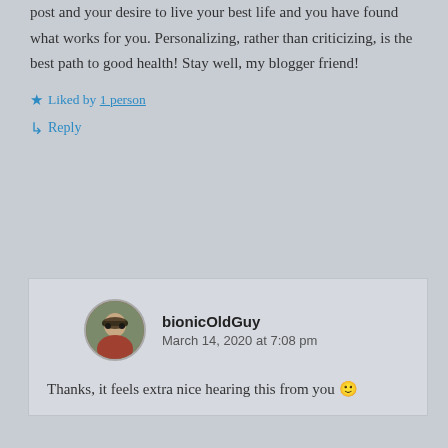post and your desire to live your best life and you have found what works for you. Personalizing, rather than criticizing, is the best path to good health! Stay well, my blogger friend!
★ Liked by 1 person
↳ Reply
bionicOldGuy
March 14, 2020 at 7:08 pm
Thanks, it feels extra nice hearing this from you 🙂